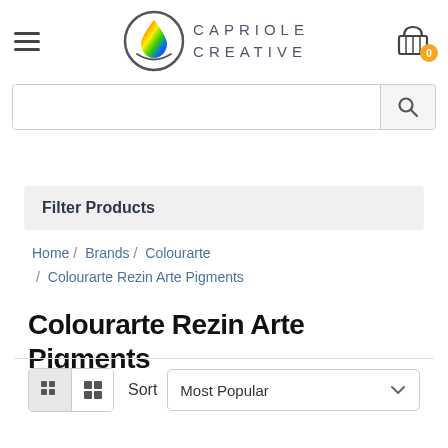[Figure (logo): Capriole Creative logo with rainbow droplet icon in a circle and brand name text]
Filter Products
Home / Brands / Colourarte / Colourarte Rezin Arte Pigments
Colourarte Rezin Arte Pigments
Sort  Most Popular